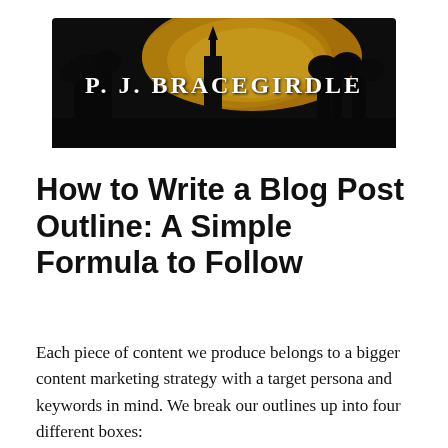[Figure (logo): P.J. Bracegirdle blog banner with dark gothic silhouette of buildings against a golden sky background, white text reading P. J. BRACEGIRDLE]
How to Write a Blog Post Outline: A Simple Formula to Follow
Each piece of content we produce belongs to a bigger content marketing strategy with a target persona and keywords in mind. We break our outlines up into four different boxes: